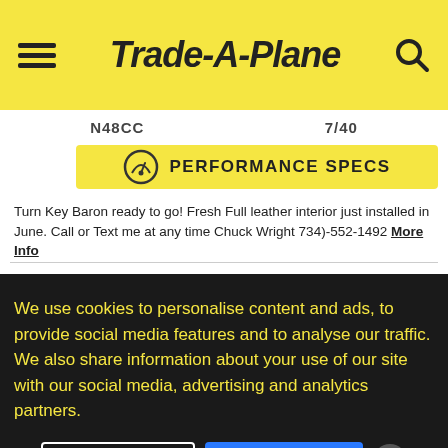Trade-A-Plane
N48CC   7/40
[Figure (infographic): Performance Specs button with speedometer icon in yellow]
Turn Key Baron ready to go! Fresh Full leather interior just installed in June. Call or Text me at any time Chuck Wright 734)-552-1492 More Info
International Aircraft Marketing & Sales - Chuck
New Iberia, LA USA
[Figure (illustration): Phone contact icon in circle]
[Figure (illustration): Email contact icon in circle]
COMPARE
SAVE
We use cookies to personalise content and ads, to provide social media features and to analyse our traffic. We also share information about your use of our site with our social media, advertising and analytics partners.
Cookie Settings   Accept Cookies